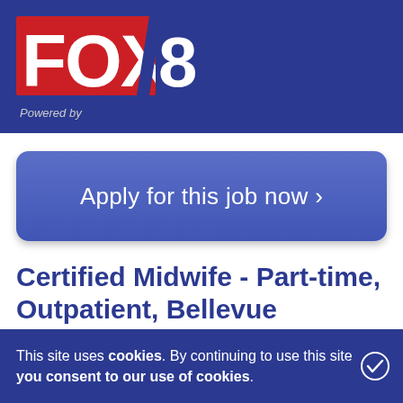[Figure (logo): FOX 8 logo with red background and blue lightning bolt '8']
Powered by
Apply for this job now >
Certified Midwife - Part-time, Outpatient, Bellevue Hospital. Job in New York FOX8 Jobs
NEW YO...
NYU Grossman School of Medicine is one of the nation's
This site uses cookies. By continuing to use this site you consent to our use of cookies.